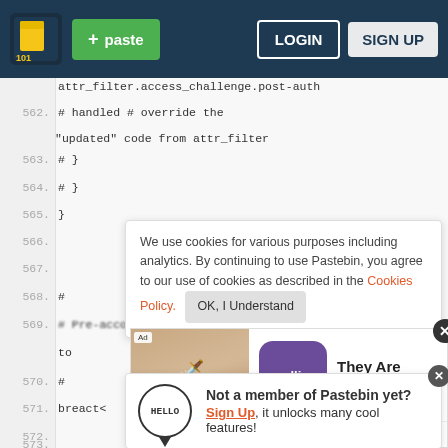Pastebin header with logo, paste button, LOGIN, SIGN UP
attr_filter.access_challenge.post-auth
562.  #                      handled  # override the "updated" code from attr_filter
563.  #                }
564.  #        }
565.  }
We use cookies for various purposes including analytics. By continuing to use Pastebin, you agree to our use of cookies as described in the Cookies Policy.   OK, I Understand
566.
567.
568.  #
569.  #   Pre-accounting -- Decide which accounting type
to   Not a member of Pastebin yet?  Sign Up, it unlocks many cool features!
570.  #
571.  preact<
572.
573.
574.
[Figure (screenshot): Ad banner for 'They Are Coming!' game by Rollic. Shows a game screenshot, purple app icon, and Download button.]
575.  ls and